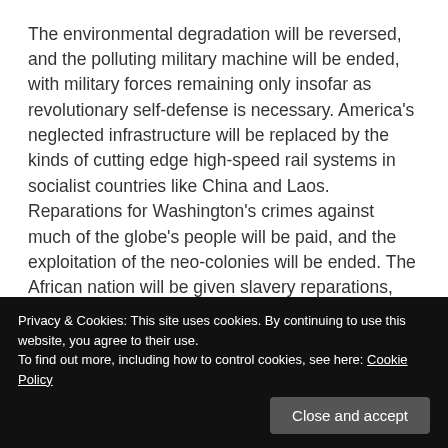The environmental degradation will be reversed, and the polluting military machine will be ended, with military forces remaining only insofar as revolutionary self-defense is necessary. America's neglected infrastructure will be replaced by the kinds of cutting edge high-speed rail systems in socialist countries like China and Laos. Reparations for Washington's crimes against much of the globe's people will be paid, and the exploitation of the neo-colonies will be ended. The African nation will be given slavery reparations, following an immediate end to the racist carceral system and the reign of racial police terror. Instead of building wealth off of the blood of the U.S. empire's victims at home and abroad, or off of profits from
Privacy & Cookies: This site uses cookies. By continuing to use this website, you agree to their use.
To find out more, including how to control cookies, see here: Cookie Policy